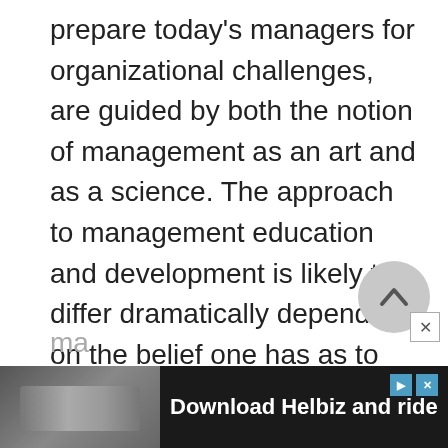prepare today's managers for organizational challenges, are guided by both the notion of management as an art and as a science. The approach to management education and development is likely to differ dramatically depending on the belief one has as to the nature of the practice of management. The perspective of management as an art assumes to some extent that a ma... ex...
[Figure (other): Advertisement banner for 'Download Helbiz and ride' with dark background and partial image of person with bicycle/scooter]